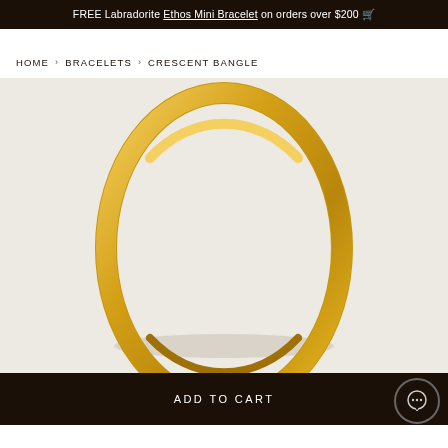FREE Labradorite Ethos Mini Bracelet on orders over $200 🛒
HOME › BRACELETS › CRESCENT BANGLE
[Figure (photo): Close-up product photo of a gold crescent bangle bracelet on a light beige/white background. The bangle is a smooth, rounded gold-toned ring shown at an angle.]
ADD TO CART